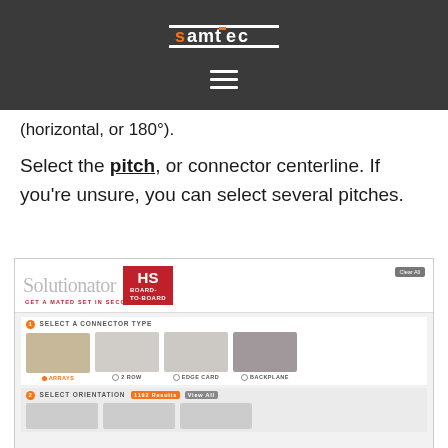Samtec logo and navigation header
(horizontal, or 180°).
Select the pitch, or connector centerline. If you're unsure, you can select several pitches.
[Figure (screenshot): Samtec Solutionator HS Board-to-Board tool screenshot showing connector type selection (Arrays selected) and orientation selection with 1192 Results]